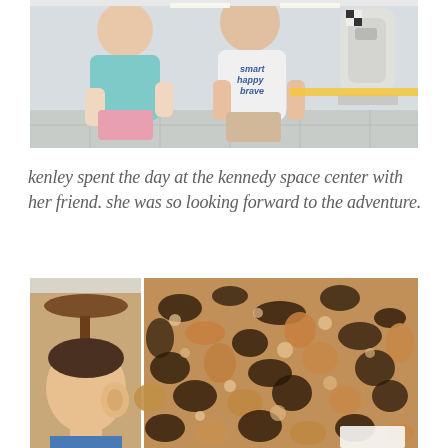[Figure (photo): Two young girls standing together at the Kennedy Space Center. One girl wears a teal/mint shirt, the other wears a white shirt with 'smart happy brave' written on it. A space capsule is visible in the background.]
kenley spent the day at the kennedy space center with her friend. she was so looking forward to the adventure.
[Figure (photo): Two photos side by side: on the left, a close-up of a child's head/ear with a stool visible; on the right, a close-up of a granite or rock surface texture.]